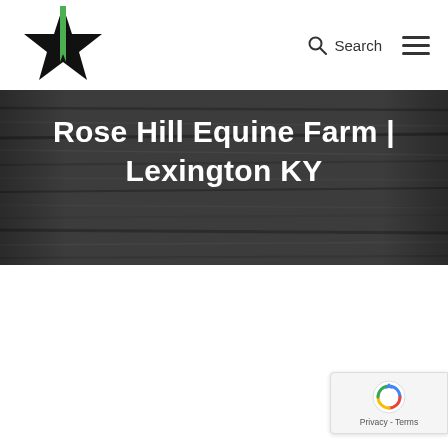[Figure (logo): Rose Hill Equine Farm logo: a black star with a green vertical bookmark/ribbon shape overlaid in the center]
Search
[Figure (illustration): Hamburger menu icon: three horizontal lines]
Rose Hill Equine Farm | Lexington KY
[Figure (illustration): Google reCAPTCHA badge with spinning arrows icon and Privacy - Terms text]